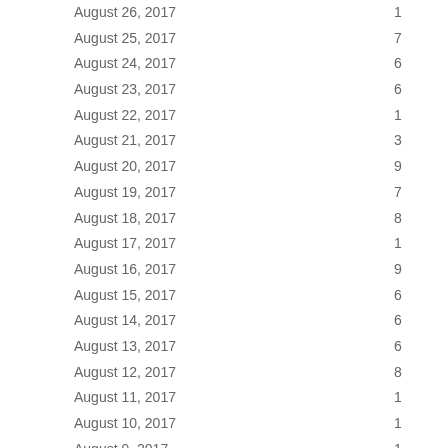| Date | Value |
| --- | --- |
| August 26, 2017 | 1 |
| August 25, 2017 | 7 |
| August 24, 2017 | 6 |
| August 23, 2017 | 6 |
| August 22, 2017 | 1 |
| August 21, 2017 | 3 |
| August 20, 2017 | 9 |
| August 19, 2017 | 7 |
| August 18, 2017 | 8 |
| August 17, 2017 | 1 |
| August 16, 2017 | 9 |
| August 15, 2017 | 6 |
| August 14, 2017 | 6 |
| August 13, 2017 | 6 |
| August 12, 2017 | 8 |
| August 11, 2017 | 1 |
| August 10, 2017 | 1 |
| August 9, 2017 | 1 |
| August 8, 2017 | 1 |
| August 7, 2017 | 6 |
| August 6, 2017 | 5 |
| August 5, 2017 | 1 |
| August 4, 2017 | 1 |
| August 3, 2017 | 1 |